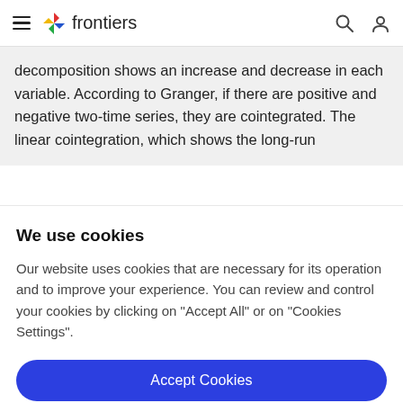frontiers
decomposition shows an increase and decrease in each variable. According to Granger, if there are positive and negative two-time series, they are cointegrated. The linear cointegration, which shows the long-run
We use cookies
Our website uses cookies that are necessary for its operation and to improve your experience. You can review and control your cookies by clicking on "Accept All" or on "Cookies Settings".
Accept Cookies
Cookies Settings